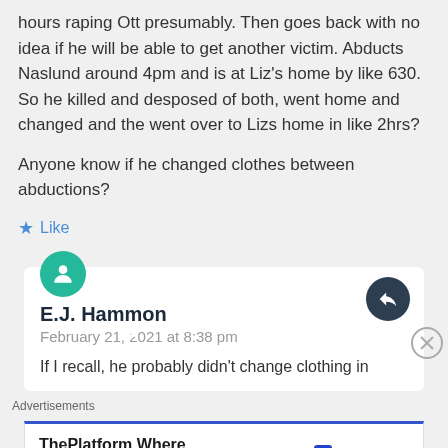hours raping Ott presumably. Then goes back with no idea if he will be able to get another victim. Abducts Naslund around 4pm and is at Liz's home by like 630. So he killed and desposed of both, went home and changed and the went over to Lizs home in like 2hrs?
Anyone know if he changed clothes between abductions?
Like
E.J. Hammon
February 21, 2021 at 8:38 pm
If I recall, he probably didn't change clothing in
Advertisements
ThePlatform Where WordPress Works Best